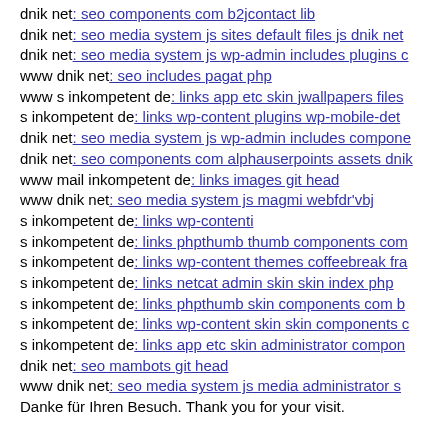dnik net: seo components com b2jcontact lib
dnik net: seo media system js sites default files js dnik net
dnik net: seo media system js wp-admin includes plugins c
www dnik net: seo includes pagat php
www s inkompetent de: links app etc skin jwallpapers files
s inkompetent de: links wp-content plugins wp-mobile-det
dnik net: seo media system js wp-admin includes compone
dnik net: seo components com alphauserpoints assets dnik
www mail inkompetent de: links images git head
www dnik net: seo media system js magmi webfdr'vbj
s inkompetent de: links wp-contenti
s inkompetent de: links phpthumb thumb components com
s inkompetent de: links wp-content themes coffeebreak fra
s inkompetent de: links netcat admin skin skin index php
s inkompetent de: links phpthumb skin components com b
s inkompetent de: links wp-content skin skin components c
s inkompetent de: links app etc skin administrator compon
dnik net: seo mambots git head
www dnik net: seo media system js media administrator s
Danke für Ihren Besuch. Thank you for your visit.